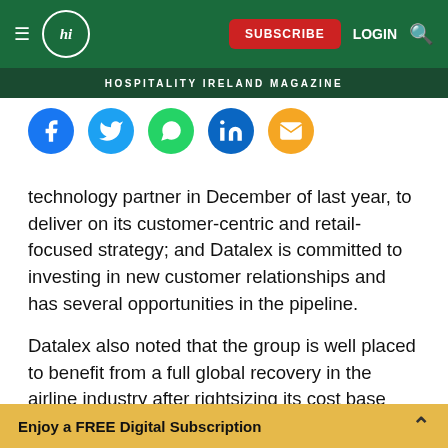Hospitality Ireland Magazine — Navigation bar with logo, SUBSCRIBE, LOGIN, search
[Figure (logo): Hospitality Ireland hi logo in circle on green navigation bar with SUBSCRIBE button, LOGIN text, and search icon]
HOSPITALITY IRELAND MAGAZINE
[Figure (infographic): Social media share icons: Facebook, Twitter, WhatsApp, LinkedIn, Email]
technology partner in December of last year, to deliver on its customer-centric and retail-focused strategy; and Datalex is committed to investing in new customer relationships and has several opportunities in the pipeline.
Datalex also noted that the group is well placed to benefit from a full global recovery in the airline industry after rightsizing its cost base and securing support from its investors, but the speed of that
Enjoy a FREE Digital Subscription